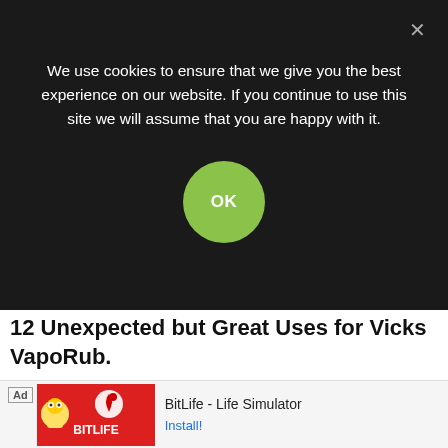[Figure (photo): Vicks VapoRub jar next to toes/feet on a wooden surface]
12 Unexpected but Great Uses for Vicks VapoRub.
Cooking
[Figure (other): Cookie consent overlay banner with OK button]
We use cookies to ensure that we give you the best experience on our website. If you continue to use this site we will assume that you are happy with it.
[Figure (other): Ad banner: BitLife - Life Simulator with Install button]